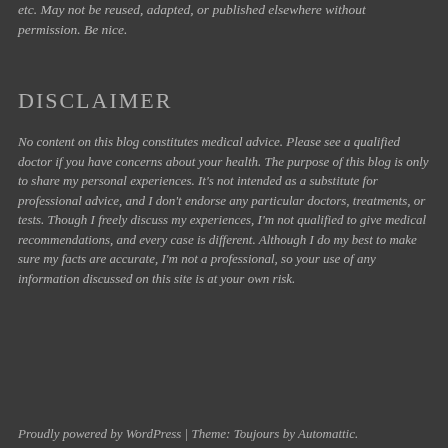etc. May not be reused, adapted, or published elsewhere without permission. Be nice.
DISCLAIMER
No content on this blog constitutes medical advice. Please see a qualified doctor if you have concerns about your health. The purpose of this blog is only to share my personal experiences. It's not intended as a substitute for professional advice, and I don't endorse any particular doctors, treatments, or tests. Though I freely discuss my experiences, I'm not qualified to give medical recommendations, and every case is different. Although I do my best to make sure my facts are accurate, I'm not a professional, so your use of any information discussed on this site is at your own risk.
Proudly powered by WordPress | Theme: Toujours by Automattic.